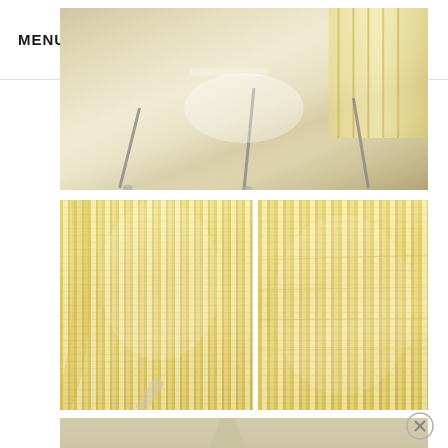MENU
[Figure (logo): Yellow Brick Home logo with house outline and star icon]
[Figure (photo): Close-up photo of furniture legs on a light wood floor with a woven yellow and white striped rug or basket partially visible]
[Figure (photo): Close-up of yellow and white woven/striped wicker or rug texture showing vertical stripes]
[Figure (photo): Close-up of yellow and white woven/striped wicker or rug texture from a different angle]